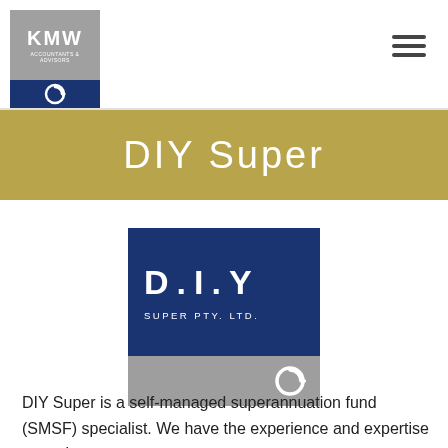[Figure (logo): KMW Accountants & Advisors logo — grey top box with KMW letters in white, blue bottom strip with circular icon]
[Figure (logo): Hamburger/menu icon — three horizontal dark grey lines]
DIY Super
[Figure (logo): D.I.Y Super Pty. Ltd. logo — dark blue box with large D.I.Y text and SUPER PTY. LTD. beneath, grey strip at bottom with circular icon]
DIY Super is a self-managed superannuation fund (SMSF) specialist. We have the experience and expertise to work